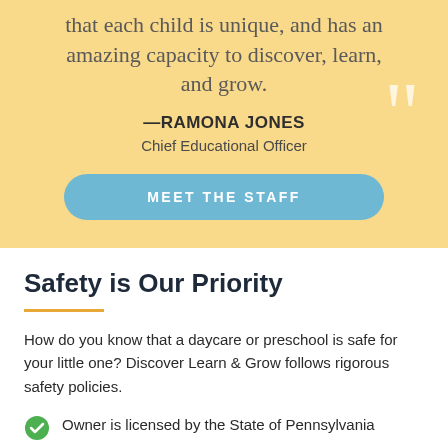that each child is unique, and has an amazing capacity to discover, learn, and grow.
—RAMONA JONES
Chief Educational Officer
MEET THE STAFF
Safety is Our Priority
How do you know that a daycare or preschool is safe for your little one? Discover Learn & Grow follows rigorous safety policies.
Owner is licensed by the State of Pennsylvania